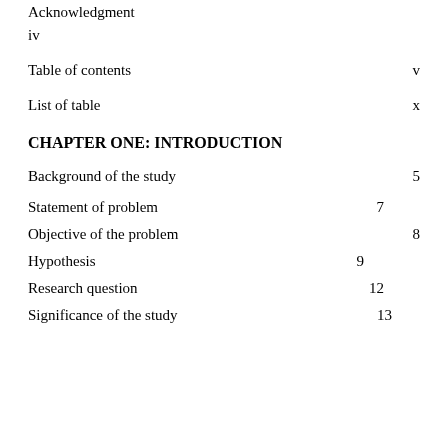Acknowledgment
iv
Table of contents   v
List of table   x
CHAPTER ONE: INTRODUCTION
Background of the study   5
Statement of problem   7
Objective of the problem   8
Hypothesis   9
Research question   12
Significance of the study   13